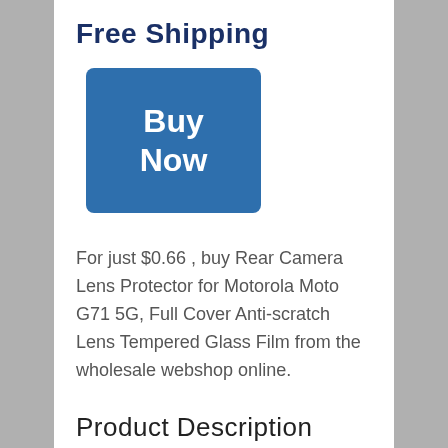Free Shipping
[Figure (other): Blue 'Buy Now' button]
For just $0.66 , buy Rear Camera Lens Protector for Motorola Moto G71 5G, Full Cover Anti-scratch Lens Tempered Glass Film from the wholesale webshop online.
Product Description